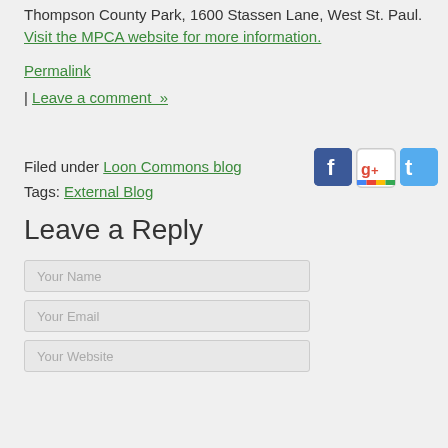Thompson County Park, 1600 Stassen Lane, West St. Paul. Visit the MPCA website for more information.
Permalink
| Leave a comment »
[Figure (other): Social media icons: Facebook, Google+, Twitter]
Filed under Loon Commons blog
Tags: External Blog
Leave a Reply
Your Name
Your Email
Your Website